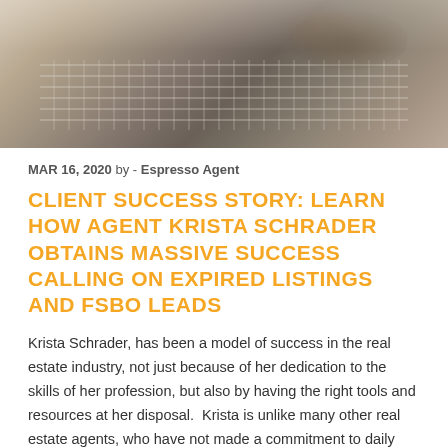[Figure (photo): Close-up photo of hands typing on a laptop keyboard, warm toned, viewed from above at an angle]
MAR 16, 2020 by - Espresso Agent
CLIENT SUCCESS STORY: LEARN HOW AGENT KRISTA SCHRADER OBTAINS MASSIVE SUCCESS CALLING ON EXPIRED LISTINGS AND FSBO LEADS
Krista Schrader, has been a model of success in the real estate industry, not just because of her dedication to the skills of her profession, but also by having the right tools and resources at her disposal.  Krista is unlike many other real estate agents, who have not made a commitment to daily purposeful lead [...]
READ FULL STORY